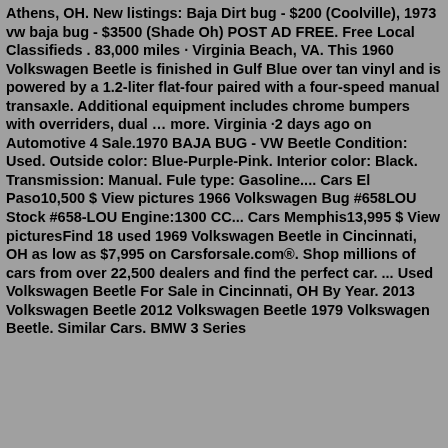Athens, OH. New listings: Baja Dirt bug - $200 (Coolville), 1973 vw baja bug - $3500 (Shade Oh) POST AD FREE. Free Local Classifieds . 83,000 miles · Virginia Beach, VA. This 1960 Volkswagen Beetle is finished in Gulf Blue over tan vinyl and is powered by a 1.2-liter flat-four paired with a four-speed manual transaxle. Additional equipment includes chrome bumpers with overriders, dual … more. Virginia ·2 days ago on Automotive 4 Sale.1970 BAJA BUG - VW Beetle Condition: Used. Outside color: Blue-Purple-Pink. Interior color: Black. Transmission: Manual. Fule type: Gasoline.... Cars El Paso10,500 $ View pictures 1966 Volkswagen Bug #658LOU Stock #658-LOU Engine:1300 CC... Cars Memphis13,995 $ View picturesFind 18 used 1969 Volkswagen Beetle in Cincinnati, OH as low as $7,995 on Carsforsale.com®. Shop millions of cars from over 22,500 dealers and find the perfect car. ... Used Volkswagen Beetle For Sale in Cincinnati, OH By Year. 2013 Volkswagen Beetle 2012 Volkswagen Beetle 1979 Volkswagen Beetle. Similar Cars. BMW 3 Series